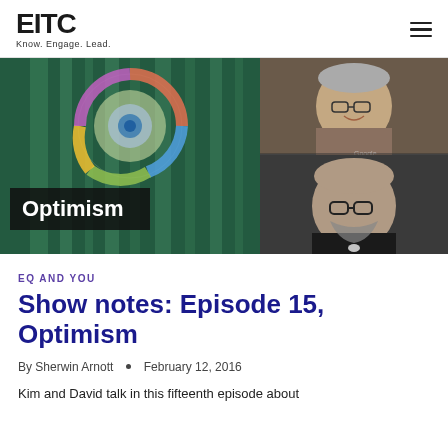EITC — Know. Engage. Lead.
[Figure (screenshot): Video thumbnail showing a split screen: left side has a circular EQ diagram with 'Optimism' text overlay on a teal/green background; right side shows two video conference participants — one man smiling at top, another man with glasses at bottom. Google watermark visible.]
EQ AND YOU
Show notes: Episode 15, Optimism
By Sherwin Arnott • February 12, 2016
Kim and David talk in this fifteenth episode about